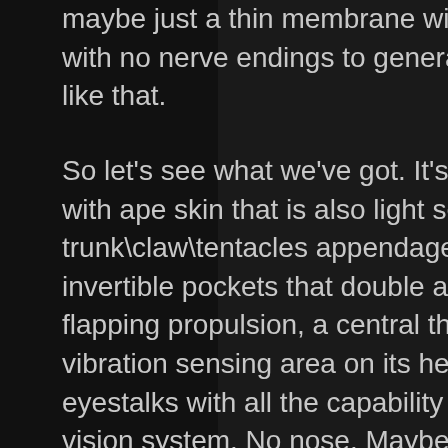maybe just a thin membrane with a chin flap cover with no nerve endings to generate pain. Something like that.
So let's see what we've got. It's a stumpy dolphin body with ape skin that is also light sensing somehow, two trunk\claw\tentacles appendages, one bird leg, invertible pockets that double as hand webbings for flapping propulsion, a central thermal and pressure vibration sensing area on its head. Articulated eyestalks with all the capability of a mantis shrimp's vision system. No nose. Maybe some magnetic sense ability. And a bio port.
I intentionally left out reproduction because these things are clearly already dead sexy and don't need any help in that department. Actually I'm just thinking once you're intentionally and successfully swapping out entire body parts via DNA to maximize function it doesn't make